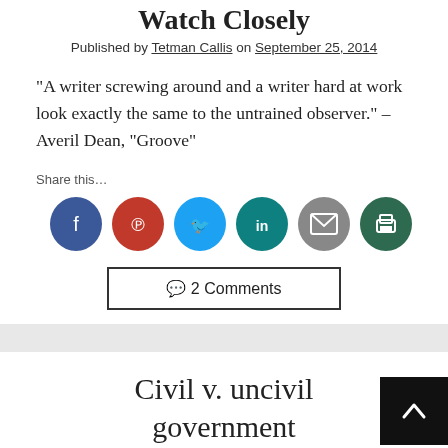Watch Closely
Published by Tetman Callis on September 25, 2014
“A writer screwing around and a writer hard at work look exactly the same to the untrained observer.” – Averil Dean, “Groove”
Share this...
[Figure (infographic): Six social sharing buttons: Facebook (dark blue), Pinterest (red), Twitter (light blue), LinkedIn (teal), Email (gray), Print (dark green)]
2 Comments
Civil v. uncivil government